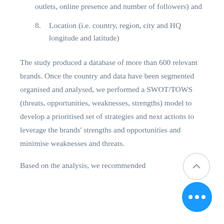outlets, online presence and number of followers) and
8. Location (i.e. country, region, city and HQ longitude and latitude)
The study produced a database of more than 600 relevant brands. Once the country and data have been segmented organised and analysed, we performed a SWOT/TOWS (threats, opportunities, weaknesses, strengths) model to develop a prioritised set of strategies and next actions to leverage the brands' strengths and opportunities and minimise weaknesses and threats.
Based on the analysis, we recommended